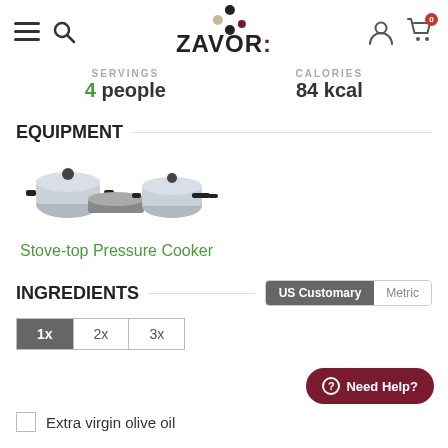ZAVOR
SERVINGS
4 people
CALORIES
84 kcal
EQUIPMENT
[Figure (photo): Stove-top pressure cooker set — multiple stainless steel pressure cookers]
Stove-top Pressure Cooker
INGREDIENTS
US Customary  Metric
1x  2x  3x
Extra virgin olive oil